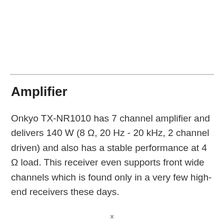Amplifier
Onkyo TX-NR1010 has 7 channel amplifier and delivers 140 W (8 Ω, 20 Hz - 20 kHz, 2 channel driven) and also has a stable performance at 4 Ω load. This receiver even supports front wide channels which is found only in a very few high-end receivers these days.
x